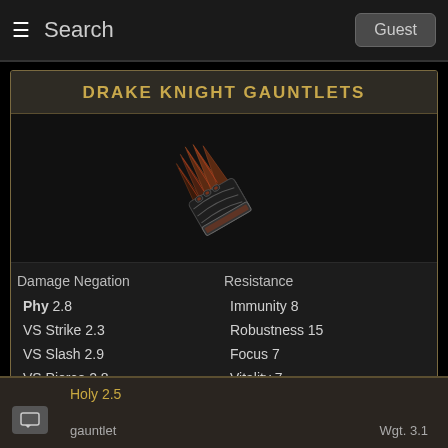Search   Guest
DRAKE KNIGHT GAUNTLETS
[Figure (illustration): 3D rendered image of Drake Knight Gauntlets armor piece — dark metallic gauntlets with reddish-bronze scale-like spines fanning outward from the fingers, on a black background.]
| Damage Negation | Resistance |
| --- | --- |
| Phy 2.8 | Immunity 8 |
| VS Strike 2.3 | Robustness 15 |
| VS Slash 2.9 | Focus 7 |
| VS Pierce 2.8 | Vitality 7 |
| Magic 2.5 | Poise 3 |
| Fire 2.8 |  |
| Ligt 2.1 |  |
| Holy 2.5 |  |
Wgt. 3.1
gauntlet